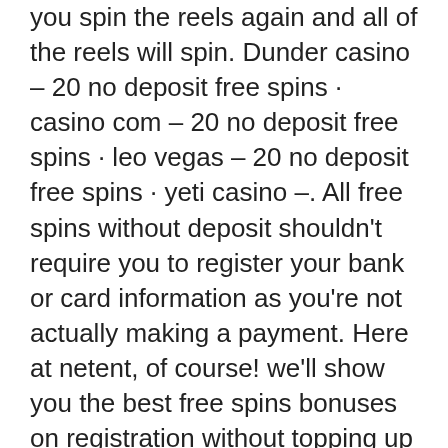you spin the reels again and all of the reels will spin. Dunder casino – 20 no deposit free spins · casino com – 20 no deposit free spins · leo vegas – 20 no deposit free spins · yeti casino –. All free spins without deposit shouldn't require you to register your bank or card information as you're not actually making a payment. Here at netent, of course! we'll show you the best free spins bonuses on registration without topping up your account, and you can get them with your initial. You can use your 50 spins no deposit bonus on any netent slot machine. Claim your free play by clicking the link below and registering your new account. How to make a deposit in no registration casinos? casinos that don't request users to open an account differ in the payment process. Slot machine arabian nights play for free without registration we haven't been able to meet in person for months now, and